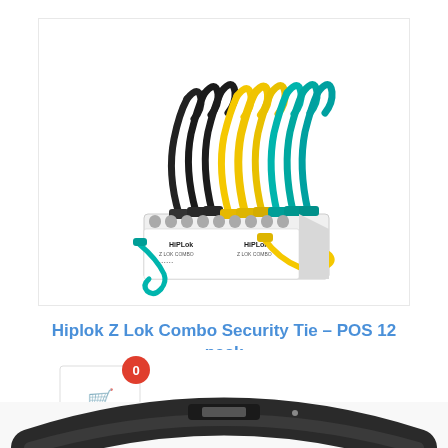[Figure (photo): Product photo of Hiplok Z Lok Combo Security Tie POS 12 pack display box containing black, yellow, and teal colored cable ties arranged in a white retail display box]
Hiplok Z Lok Combo Security Tie – POS 12 pack
[Figure (photo): Partial view of a second Hiplok product (a wearable lock/strap in dark color) with a shopping cart icon and red badge showing 0]